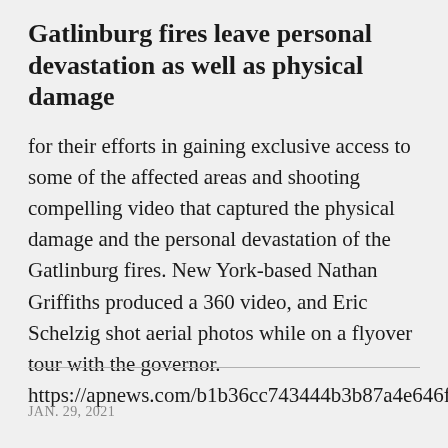Gatlinburg fires leave personal devastation as well as physical damage
for their efforts in gaining exclusive access to some of the affected areas and shooting compelling video that captured the physical damage and the personal devastation of the Gatlinburg fires. New York-based Nathan Griffiths produced a 360 video, and Eric Schelzig shot aerial photos while on a flyover tour with the governor.
https://apnews.com/b1b36cc743444b3b87a4e646fd137
JAN. 29, 2021